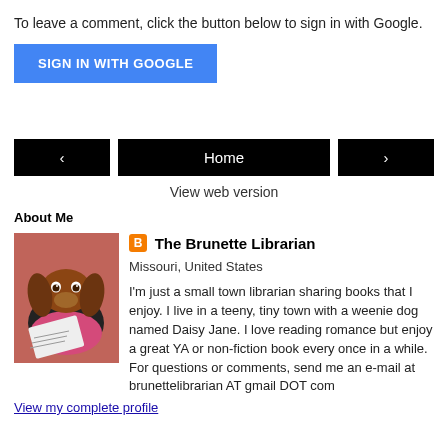To leave a comment, click the button below to sign in with Google.
[Figure (other): Blue 'SIGN IN WITH GOOGLE' button]
[Figure (other): Navigation bar with left arrow button, Home button, and right arrow button]
View web version
About Me
[Figure (photo): Photo of a dachshund dog reading a magazine, with pink/red background]
The Brunette Librarian
Missouri, United States
I'm just a small town librarian sharing books that I enjoy. I live in a teeny, tiny town with a weenie dog named Daisy Jane. I love reading romance but enjoy a great YA or non-fiction book every once in a while. For questions or comments, send me an e-mail at brunettelibrarian AT gmail DOT com
View my complete profile